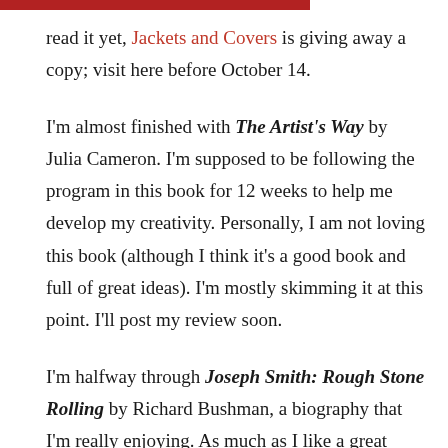read it yet, Jackets and Covers is giving away a copy; visit here before October 14.
I'm almost finished with The Artist's Way by Julia Cameron. I'm supposed to be following the program in this book for 12 weeks to help me develop my creativity. Personally, I am not loving this book (although I think it's a good book and full of great ideas). I'm mostly skimming it at this point. I'll post my review soon.
I'm halfway through Joseph Smith: Rough Stone Rolling by Richard Bushman, a biography that I'm really enjoying. As much as I like a great biography, I